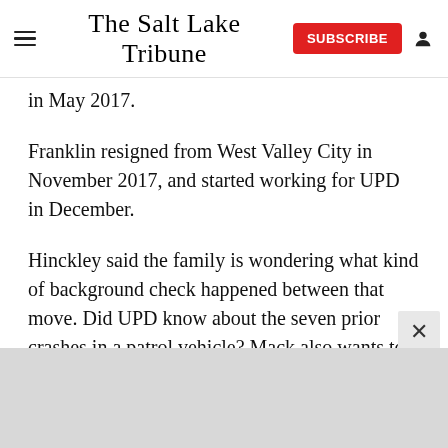The Salt Lake Tribune
in May 2017.
Franklin resigned from West Valley City in November 2017, and started working for UPD in December.
Hinckley said the family is wondering what kind of background check happened between that move. Did UPD know about the seven prior crashes in a patrol vehicle? Mack also wants to know what happened the night Europe died.